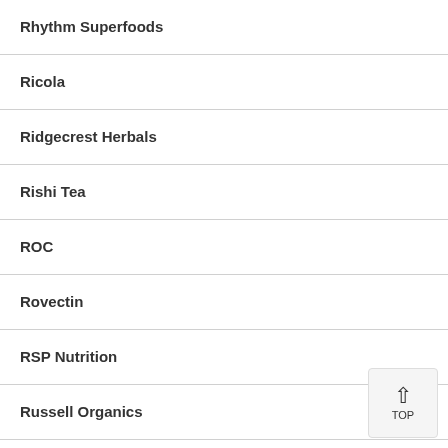Rhythm Superfoods
Ricola
Ridgecrest Herbals
Rishi Tea
ROC
Rovectin
RSP Nutrition
Russell Organics